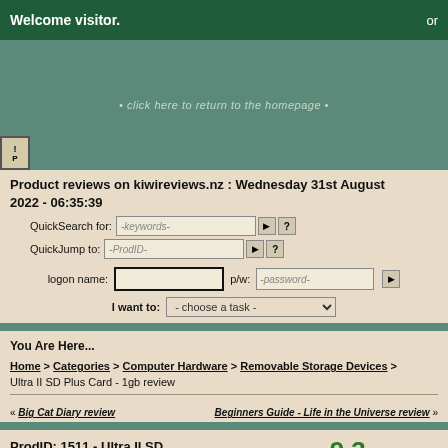Welcome visitor.   or
[Figure (screenshot): Teal background section with homepage link text: • click here to return to the homepage •]
Product reviews on kiwireviews.nz : Wednesday 31st August 2022 - 06:35:39
QuickSearch for: -keywords-  QuickJump to: -ProdID-  logon name:  p/w: -password-  I want to: - choose a task -
You Are Here...
Home > Categories > Computer Hardware > Removable Storage Devices > Ultra II SD Plus Card - 1gb review
« Big Cat Diary review    Beginners Guide - Life in the Universe review »
ProdID: 1511 - Ultra II SD Plus Card - 1gb
Brand: Sandisk
Score: 9.3/10 [1 review]